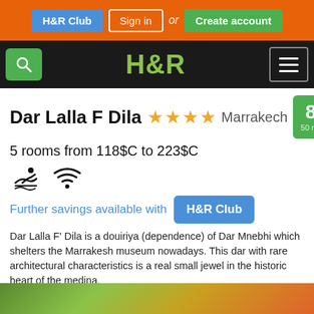H&R Club | Sign in or Create account
H&R
Dar Lalla F Dila ★★★★ Marrakech 8.8 50 reviews
5 rooms from 118$C to 223$C
Further savings available with H&R Club
Dar Lalla F' Dila is a douiriya (dependence) of Dar Mnebhi which shelters the Marrakesh museum nowadays. This dar with rare architectural characteristics is a real small jewel in the historic heart of the medina.
Neat decoration - Easy access - Nearness to the souks - Private dining room - Nearness to Medersa Ben Youssef
[Figure (photo): Decorative bottom image strip with green and orange tones]